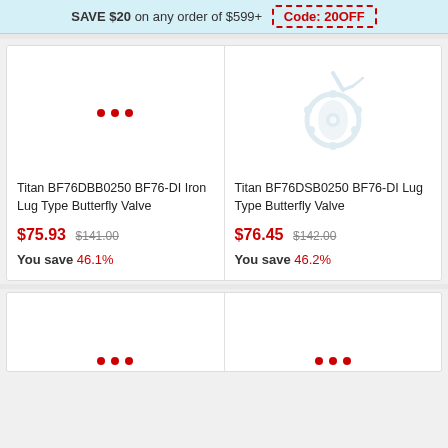SAVE $20 on any order of $599+   Code: 20OFF
[Figure (other): Loading dots placeholder for product image (left card, row 1)]
Titan BF76DBB0250 BF76-DI Iron Lug Type Butterfly Valve
$75.93  $141.00
You save 46.1%
[Figure (photo): Butterfly valve product image (right card, row 1) - lug type industrial valve]
Titan BF76DSB0250 BF76-DI Lug Type Butterfly Valve
$76.45  $142.00
You save 46.2%
[Figure (other): Loading dots placeholder for product image (left card, row 2)]
[Figure (other): Loading dots placeholder for product image (right card, row 2)]